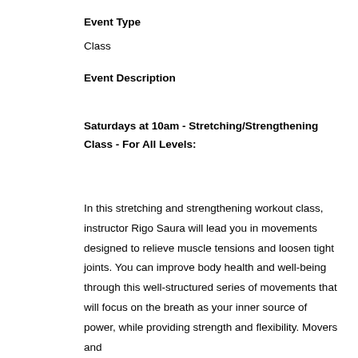Event Type
Class
Event Description
Saturdays at 10am - Stretching/Strengthening Class - For All Levels:
In this stretching and strengthening workout class, instructor Rigo Saura will lead you in movements designed to relieve muscle tensions and loosen tight joints. You can improve body health and well-being through this well-structured series of movements that will focus on the breath as your inner source of power, while providing strength and flexibility. Movers and